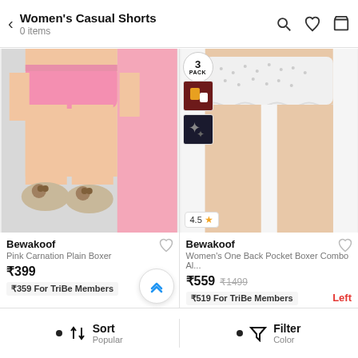Women's Casual Shorts — 0 items
[Figure (photo): Woman wearing pink casual boxer shorts with bear slippers, pink color swatch shown]
Bewakoof
Pink Carnation Plain Boxer
₹399
₹359 For TriBe Members
[Figure (photo): Woman wearing white patterned boxer shorts; 3 PACK badge, two color thumbnails, 4.5 star rating]
Bewakoof
Women's One Back Pocket Boxer Combo Al...
₹559  ₹1499
₹519 For TriBe Members
Sort — Popular   Filter — Color